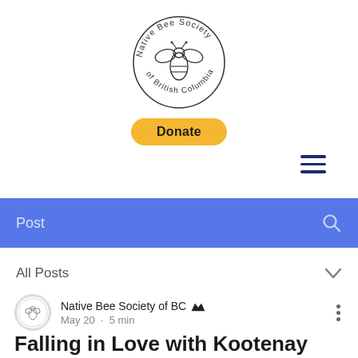[Figure (logo): Native Bee Society of British Columbia circular logo with bee illustration]
[Figure (other): Yellow rounded donate button with bold text 'Donate']
[Figure (other): Hamburger menu icon with three dark navy horizontal lines]
Post
All Posts
Native Bee Society of BC  May 20  •  5 min
Falling in Love with Kootenay Camas